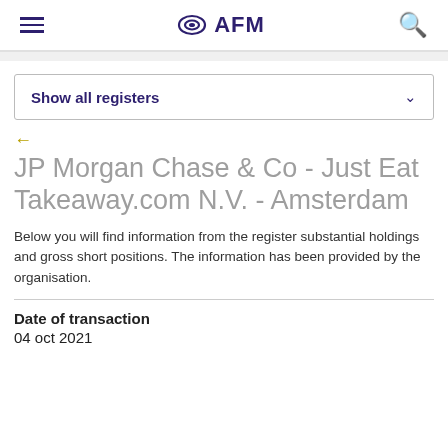AFM
Show all registers
JP Morgan Chase & Co - Just Eat Takeaway.com N.V. - Amsterdam
Below you will find information from the register substantial holdings and gross short positions. The information has been provided by the organisation.
Date of transaction
04 oct 2021